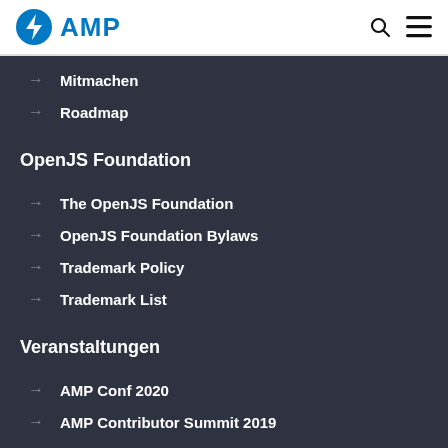AMP
→ Mitmachen
→ Roadmap
OpenJS Foundation
→ The OpenJS Foundation
→ OpenJS Foundation Bylaws
→ Trademark Policy
→ Trademark List
Veranstaltungen
→ AMP Conf 2020
→ AMP Contributor Summit 2019
AMP Brand Materials